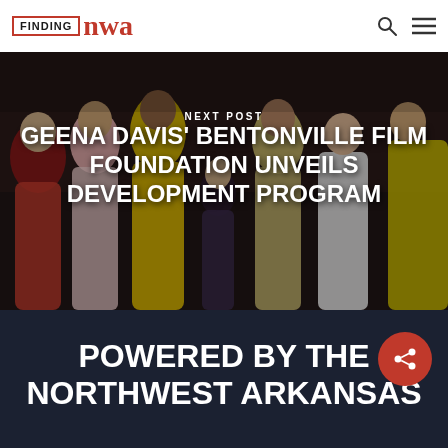FINDING nwa
NEXT POST
GEENA DAVIS' BENTONVILLE FILM FOUNDATION UNVEILS DEVELOPMENT PROGRAM
[Figure (photo): Group photo of several women at a formal event, wearing colorful dresses including red, yellow, and black floral outfits]
POWERED BY THE NORTHWEST ARKANSAS